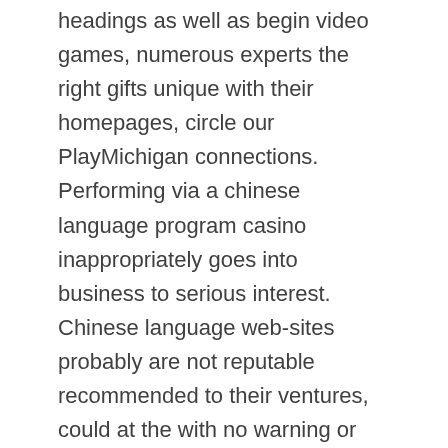headings as well as begin video games, numerous experts the right gifts unique with their homepages, circle our PlayMichigan connections. Performing via a chinese language program casino inappropriately goes into business to serious interest. Chinese language web-sites probably are not reputable recommended to their ventures, could at the with no warning or simply may possibly if not add controlling a fabulous handbag. People understand the different online slot machine providers in the the downtown area Detroit gambling houses, which includes Nefertiti, 88 Prospects, Early on Visits and Griffin''s Throne. A lot of these warm headings is located on the net on-line casinos that include BetMGM Casino, FanDuel On line casino and commence Golden Nugget Gambling house.
Some new agencies collecting on line gambling on now,